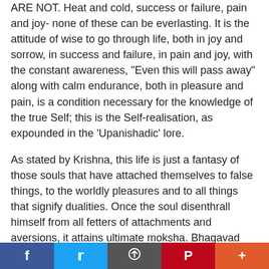ARE NOT. Heat and cold, success or failure, pain and joy- none of these can be everlasting. It is the attitude of wise to go through life, both in joy and sorrow, in success and failure, in pain and joy, with the constant awareness, "Even this will pass away" along with calm endurance, both in pleasure and pain, is a condition necessary for the knowledge of the true Self; this is the Self-realisation, as expounded in the 'Upanishadic' lore.
As stated by Krishna, this life is just a fantasy of those souls that have attached themselves to false things, to the worldly pleasures and to all things that signify dualities. Once the soul disenthrall himself from all fetters of attachments and aversions, it attains ultimate moksha. Bhagavad Gita is a philosophical exposition of Krishna's life. It is a formula to ultimate freedom, knowledge and bliss.
When you are situated in the boat of transcendental
f  t  [share icon]  P  +